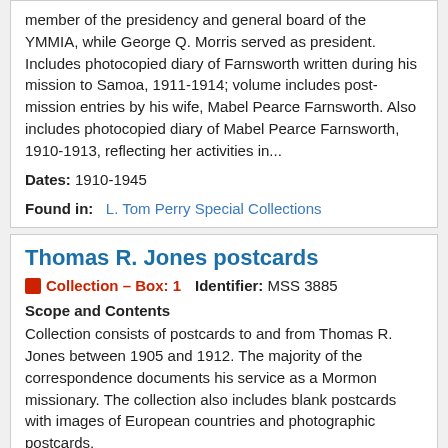member of the presidency and general board of the YMMIA, while George Q. Morris served as president. Includes photocopied diary of Farnsworth written during his mission to Samoa, 1911-1914; volume includes post-mission entries by his wife, Mabel Pearce Farnsworth. Also includes photocopied diary of Mabel Pearce Farnsworth, 1910-1913, reflecting her activities in...
Dates: 1910-1945
Found in: L. Tom Perry Special Collections
Thomas R. Jones postcards
Collection — Box: 1    Identifier: MSS 3885
Scope and Contents
Collection consists of postcards to and from Thomas R. Jones between 1905 and 1912. The majority of the correspondence documents his service as a Mormon missionary. The collection also includes blank postcards with images of European countries and photographic postcards.